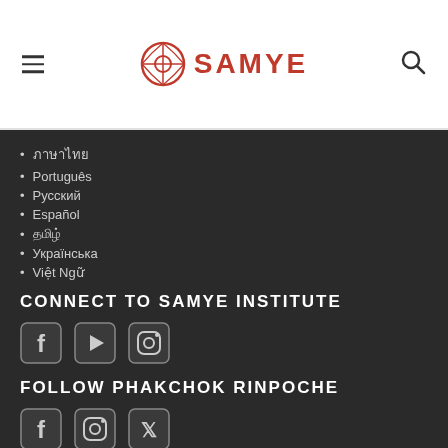SAMYE
ภาษาไทย
Português
Русский
Español
தமிழ்
Українська
Việt Ngữ
CONNECT TO SAMYE INSTITUTE
[Figure (logo): Social media icons: Facebook, YouTube, Instagram]
FOLLOW PHAKCHOK RINPOCHE
[Figure (logo): Social media icons: Facebook, Instagram, Twitter/X]